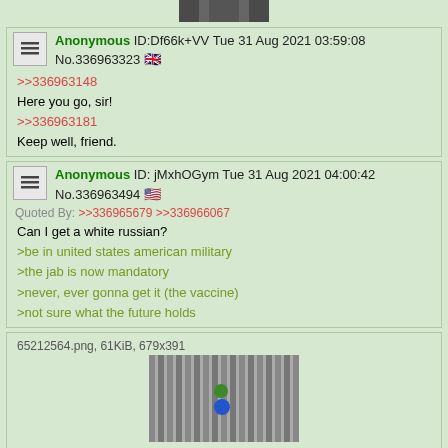[Figure (photo): Partial top image cropped at top of page]
Anonymous ID:Df66k+VV Tue 31 Aug 2021 03:59:08 No.336963323 [UK flag]
>>336963148
Here you go, sir!
>>336963181
Keep well, friend.
Anonymous ID:jMxhOGym Tue 31 Aug 2021 04:00:42 No.336963494 [US flag]
Quoted By: >>336965679 >>336966067
Can I get a white russian?
>be in united states american military
>the jab is now mandatory
>never, ever gonna get it (the vaccine)
>not sure what the future holds
65212564.png, 61KiB, 679x391
[Figure (photo): Striped image 679x391 with green and blue dots]
Anonymous ID:vrwA8Yzw Tue 31 Aug 2021 04:01:34 No.336963578 [German flag]